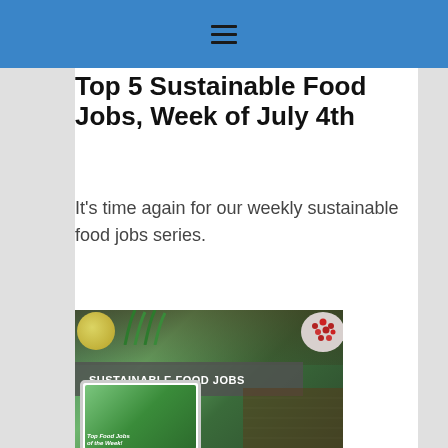≡
Top 5 Sustainable Food Jobs, Week of July 4th
It's time again for our weekly sustainable food jobs series.
[Figure (photo): Food jobs promotional image showing a tablet device with 'Top Food Jobs of the Week!' on screen, surrounded by food items (lemon, pomegranate seeds, herbs), with a 'SUSTAINABLE FOOD JOBS' label banner overlay]